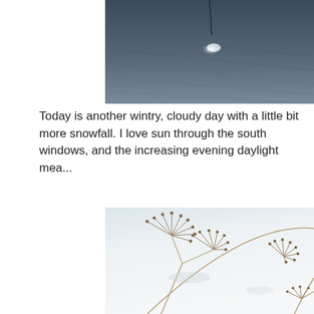[Figure (photo): Partial view of a snow surface with light reflection, top portion cropped, dark blue-gray sky or surface with subtle lines and a bright specular highlight near center.]
Today is another wintry, cloudy day with a little bit more snowfall. I love sun through the south windows, and the increasing evening daylight mea...
[Figure (photo): Close-up photograph of dried seed heads (umbellifer type plants) lying on white snow, showing delicate radiating stems with small seeds at the tips against a bright snowy background.]